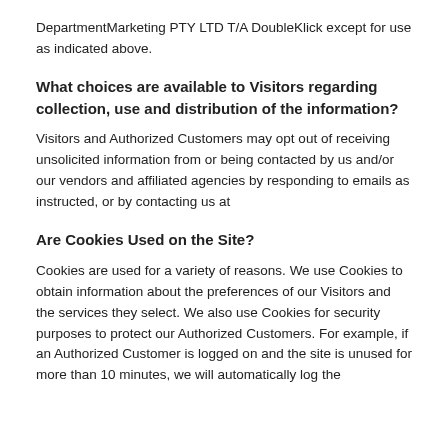DepartmentMarketing PTY LTD T/A DoubleKlick except for use as indicated above.
What choices are available to Visitors regarding collection, use and distribution of the information?
Visitors and Authorized Customers may opt out of receiving unsolicited information from or being contacted by us and/or our vendors and affiliated agencies by responding to emails as instructed, or by contacting us at
Are Cookies Used on the Site?
Cookies are used for a variety of reasons. We use Cookies to obtain information about the preferences of our Visitors and the services they select. We also use Cookies for security purposes to protect our Authorized Customers. For example, if an Authorized Customer is logged on and the site is unused for more than 10 minutes, we will automatically log the